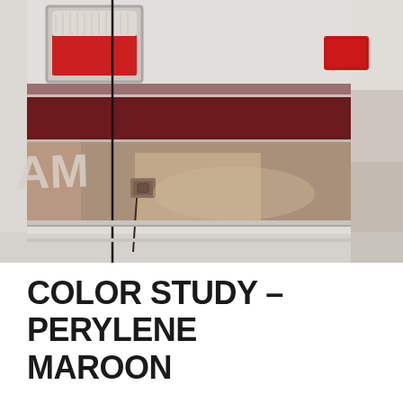[Figure (photo): Close-up photograph of the rear corner of a white and maroon Dodge Ram van, showing the tail light assembly, a dark horizontal stripe, a brownish-mauve lower body panel, a hinge detail, and partial 'AM' badging visible on the left side.]
COLOR STUDY – PERYLENE MAROON